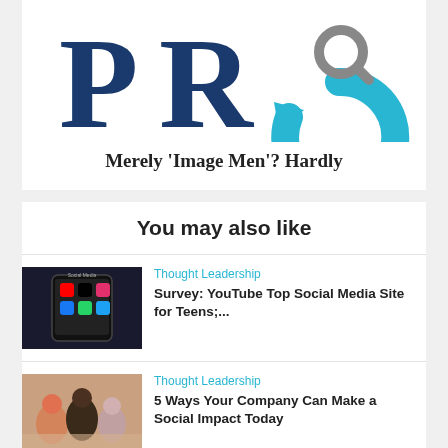[Figure (logo): Partial logo showing letters 'PR' in dark blue serif font with a circular arrow graphic in light blue, magnifying glass element visible]
Merely ‘Image Men’? Hardly
You may also like
[Figure (photo): Close-up of a smartphone screen showing social media app icons including TikTok, YouTube, Instagram, Facebook with 'Social Media' text visible]
Thought Leadership
Survey: YouTube Top Social Media Site for Teens;...
[Figure (photo): Group of diverse young people at an event or social gathering, one woman with red hair in foreground]
Thought Leadership
5 Ways Your Company Can Make a Social Impact Today
[Figure (photo): Partial image with red diagonal graphic element visible]
Thought Leadership
What CEOs Need to